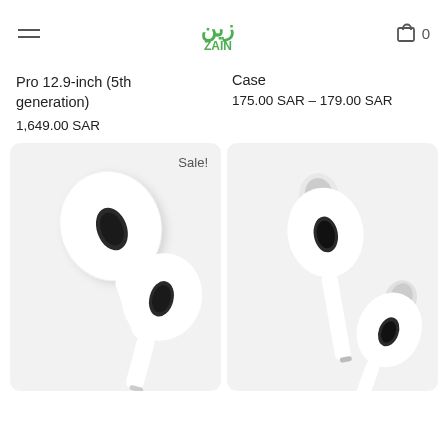Zain logo, hamburger menu, cart icon with 0
Pro 12.9-inch (5th generation)
1,649.00 SAR
Case
175.00 SAR – 179.00 SAR
[Figure (photo): Apple AirPods (3rd generation) product photo on light gray background with 'Sale!' badge in top right corner]
[Figure (photo): Apple AirPods Pro product photo on light gray background]